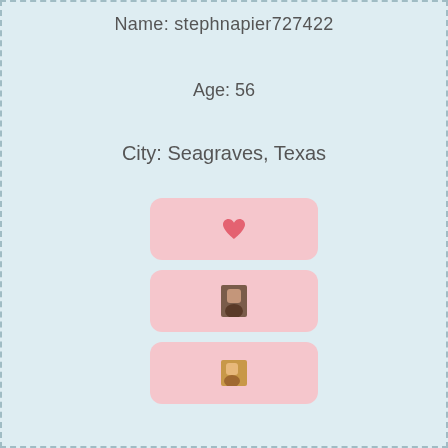Name: stephnapier727422
Age: 56
City: Seagraves, Texas
[Figure (illustration): Pink rounded rectangle card with a red heart emoji icon centered]
[Figure (photo): Pink rounded rectangle card with a small portrait photo thumbnail centered]
[Figure (photo): Pink rounded rectangle card with a small portrait photo thumbnail centered]